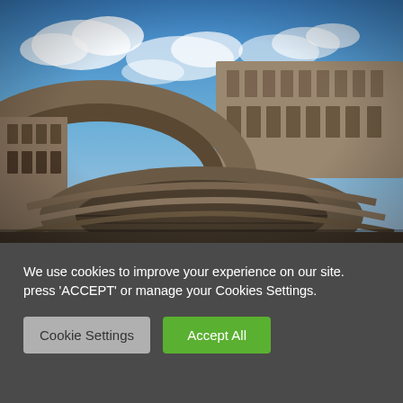[Figure (photo): Interior of the Roman Colosseum photographed from ground level, showing the ancient stone arches and tiers of seating rising up against a partly cloudy blue sky.]
We use cookies to improve your experience on our site. press 'ACCEPT' or manage your Cookies Settings.
Cookie Settings
Accept All